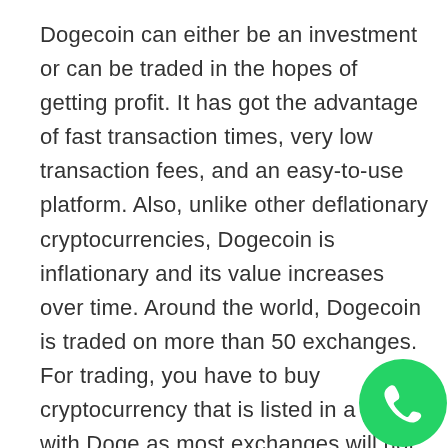Dogecoin can either be an investment or can be traded in the hopes of getting profit. It has got the advantage of fast transaction times, very low transaction fees, and an easy-to-use platform. Also, unlike other deflationary cryptocurrencies, Dogecoin is inflationary and its value increases over time. Around the world, Dogecoin is traded on more than 50 exchanges. For trading, you have to buy cryptocurrency that is listed in a pairing with Doge as most exchanges will not allow buying DOGE with fiat. Yo can keep the Dogecoin in any desktop
[Figure (logo): WhatsApp green phone icon logo in bottom-right corner]